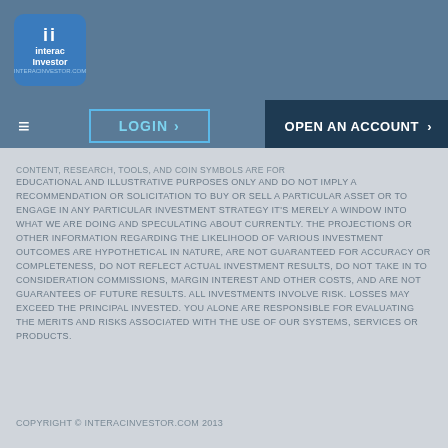[Figure (logo): Interac Investor logo — blue rounded square with 'ii' mark and text 'interac Investor']
LOGIN  >    OPEN AN ACCOUNT  >
CONTENT, RESEARCH, TOOLS, AND COIN SYMBOLS ARE FOR EDUCATIONAL AND ILLUSTRATIVE PURPOSES ONLY AND DO NOT IMPLY A RECOMMENDATION OR SOLICITATION TO BUY OR SELL A PARTICULAR ASSET OR TO ENGAGE IN ANY PARTICULAR INVESTMENT STRATEGY IT'S MERELY A WINDOW INTO WHAT WE ARE DOING AND SPECULATING ABOUT CURRENTLY. THE PROJECTIONS OR OTHER INFORMATION REGARDING THE LIKELIHOOD OF VARIOUS INVESTMENT OUTCOMES ARE HYPOTHETICAL IN NATURE, ARE NOT GUARANTEED FOR ACCURACY OR COMPLETENESS, DO NOT REFLECT ACTUAL INVESTMENT RESULTS, DO NOT TAKE IN TO CONSIDERATION COMMISSIONS, MARGIN INTEREST AND OTHER COSTS, AND ARE NOT GUARANTEES OF FUTURE RESULTS. ALL INVESTMENTS INVOLVE RISK. LOSSES MAY EXCEED THE PRINCIPAL INVESTED. YOU ALONE ARE RESPONSIBLE FOR EVALUATING THE MERITS AND RISKS ASSOCIATED WITH THE USE OF OUR SYSTEMS, SERVICES OR PRODUCTS.
COPYRIGHT © INTERACINVESTOR.COM 2013